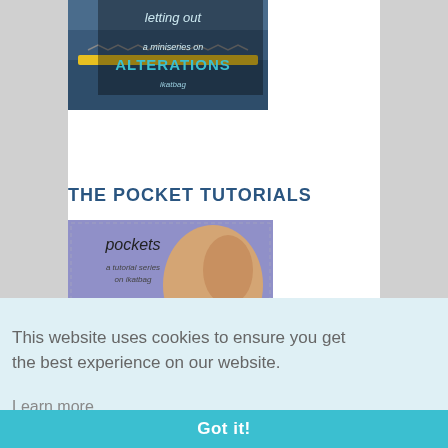[Figure (photo): Photo of folded jeans with yellow tape measure and text overlay reading 'letting out a miniseries on ALTERATIONS']
THE POCKET TUTORIALS
[Figure (photo): Photo of blue slippers/shoes with decorative scalloped edge and text overlay reading 'pockets a tutorial series on ikatbag']
This website uses cookies to ensure you get the best experience on our website.
Learn more
Got it!